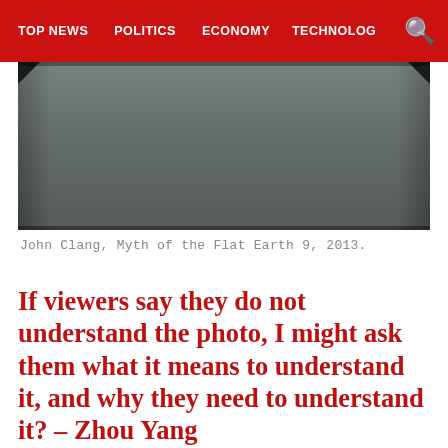TOP NEWS   POLITICS   ECONOMY   TECHNOLOG
[Figure (photo): A photograph showing a dark grey flat surface, likely a table or floor, viewed at an angle with slight perspective. The corners of the image are darkened.]
John Clang, Myth of the Flat Earth 9, 2013.
If viewers say they do not understand the photo, I might ask them what it means to understand it, and why they need to understand it? – Zhou Yang